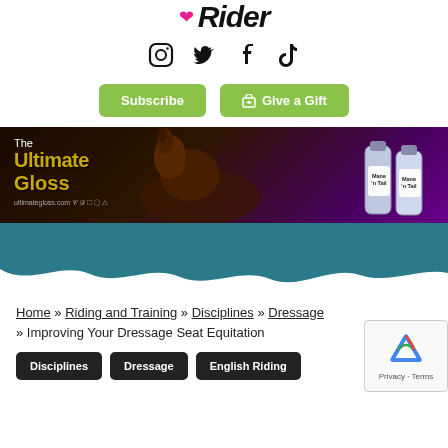[Figure (logo): Rider magazine logo with heart icon and stylized italic text]
[Figure (infographic): Social media icons: Instagram, Twitter, Facebook, TikTok]
Subscribe   Give a Gift
[Figure (photo): The Ultimate Gloss advertisement banner featuring a horse and Mane 'n Tail shampoo bottles]
[Figure (infographic): Teal decorative section with wavy white bottom edge]
Home » Riding and Training » Disciplines » Dressage » Improving Your Dressage Seat Equitation
Disciplines
Dressage
English Riding